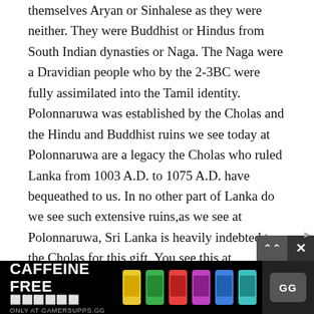themselves Aryan or Sinhalese as they were neither. They were Buddhist or Hindus from South Indian dynasties or Naga. The Naga were a Dravidian people who by the 2-3BC were fully assimilated into the Tamil identity. Polonnaruwa was established by the Cholas and the Hindu and Buddhist ruins we see today at Polonnaruwa are a legacy the Cholas who ruled Lanka from 1003 A.D. to 1075 A.D. have bequeathed to us. In no other part of Lanka do we see such extensive ruins,as we see at Polonnaruwa, Sri Lanka is heavily indebted to the Cholas for this gift. You see this at Polonnaruwa...
[Figure (other): Advertisement banner for CAFFEINE FREE GamerSupps.gg showing energy drink cans and logo]